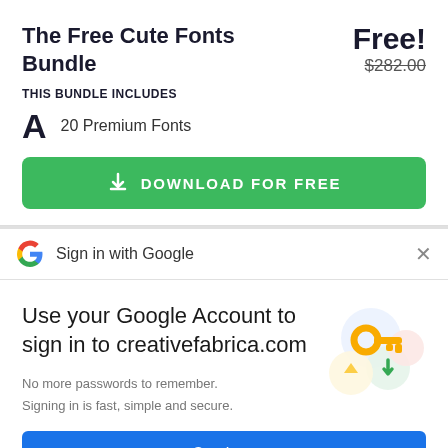The Free Cute Fonts Bundle
Free! $282.00
THIS BUNDLE INCLUDES
A  20 Premium Fonts
DOWNLOAD FOR FREE
Sign in with Google
Use your Google Account to sign in to creativefabrica.com
No more passwords to remember. Signing in is fast, simple and secure.
Continue